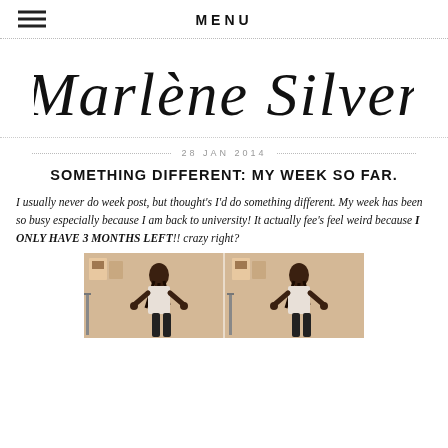MENU
Marlène Silver
28 JAN 2014
SOMETHING DIFFERENT: MY WEEK SO FAR.
I usually never do week post, but thought's I'd do something different. My week has been so busy especially because I am back to university! It actually fee's feel weird because I ONLY HAVE 3 MONTHS LEFT!! crazy right?
[Figure (photo): Two side-by-side photos of a young woman posing with hands on hips in a room with clothes rack and posters on the wall]